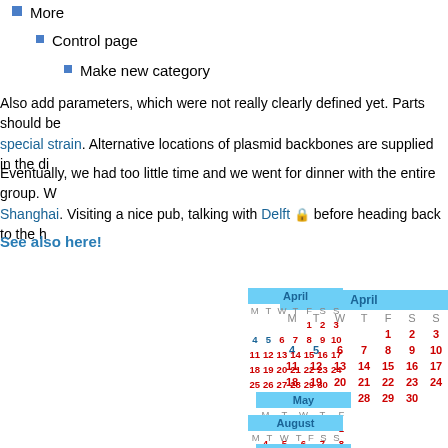More
Control page
Make new category
Also add parameters, which were not really clearly defined yet. Parts should be... special strain. Alternative locations of plasmid backbones are supplied in the di...
Eventually, we had too little time and we went for dinner with the entire group. W... Shanghai. Visiting a nice pub, talking with Delft before heading back to the h...
See also here!
[Figure (table-as-image): Calendar showing April and May months with dates, and August and September partial view]